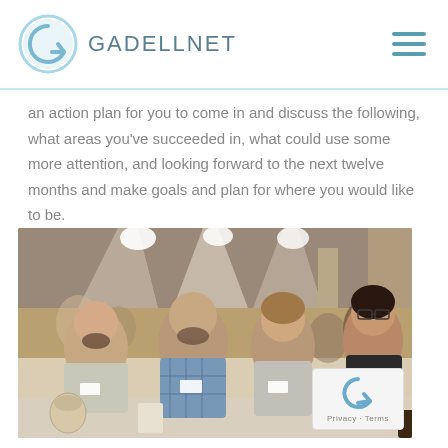GADELLNET
...what areas you've succeeded in, what could use some more attention, and looking forward to the next twelve months and make goals and plan for where you would like to be.
[Figure (photo): Group photo of four people sitting at a conference/banquet table in a large event hall. Three women and one bearded man with name tags, smiling at camera. Tables filled with attendees in the background.]